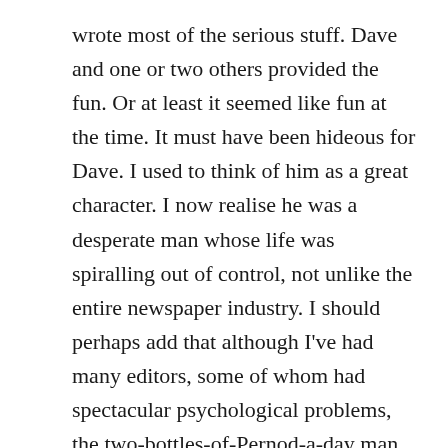wrote most of the serious stuff. Dave and one or two others provided the fun. Or at least it seemed like fun at the time. It must have been hideous for Dave. I used to think of him as a great character. I now realise he was a desperate man whose life was spiralling out of control, not unlike the entire newspaper industry. I should perhaps add that although I've had many editors, some of whom had spectacular psychological problems, the two-bottles-of-Pernod-a-day man was the only one who was seriously alcoholic. So seriously in fact that one day he was literally taken away from the office by men in white coats. Some of the others had fairly sensational episodes too, but those are stories for another day.
Several TV critics have described the depiction of 1980s